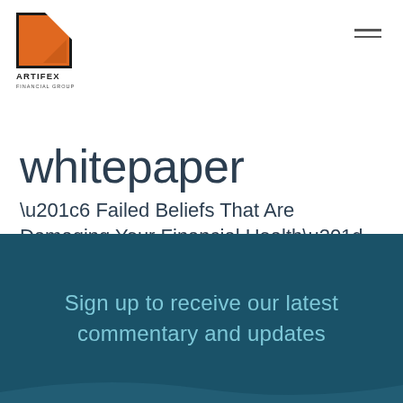[Figure (logo): Artifex Financial Group logo: orange square with white triangle, company name below]
whitepaper
“6 Failed Beliefs That Are Damaging Your Financial Health”
Get Your Free Whitepaper
Sign up to receive our latest commentary and updates